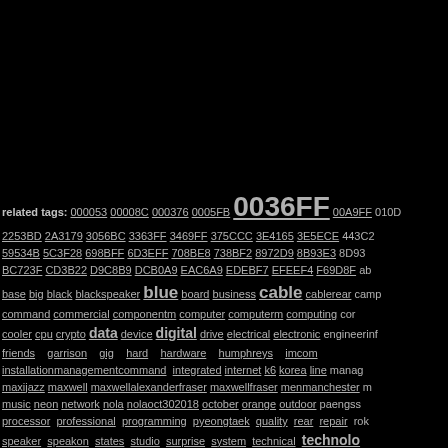related tags: 000053 00008C 000376 0005FB 0036FF 00A9FF 010D 2253BD 2A3179 3056BC 3363FF 3469FF 375CCC 3E4165 3E5ECE 443C2 59534B 5C3F28 698BFF 6D3EFF 708BE8 738BF2 8972D9 8B93E3 8D93 BC723F CD3B22 D9C8B9 DCB0A9 EAC6A9 EDEBF7 EFEEF4 F69D8F ab base big black blackspeaker blue board business cable cablerear camp command commercial componentm computer computerm computing cor cooler cpu crypto data device digital drive electrical electronic engineerinf friends garrison gig hard hardware humphreys imcom installationmanagementcommand integrated internet k6 korea line manag maxijazz maxwell maxwellalexanderfraser maxwellfraser menmanchester music neon network nola nolaoct302018 october orange outdoor paengss processor professional programming pyeongtaek quality rear repair rok speaker speakon states studio surprise system technical technolo usaghumphreys usfk wecomeone wedding work 12042010